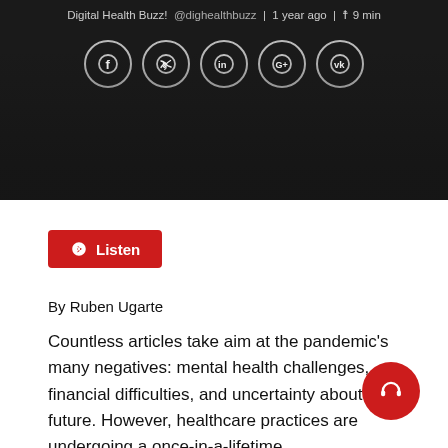Digital Health Buzz! @dighealthbuzz | 1 year ago | 9 min
[Figure (screenshot): Social sharing icons (Facebook, Twitter, LinkedIn, Google+, VK) as white circles on dark background]
By Ruben Ugarte
Countless articles take aim at the pandemic's many negatives: mental health challenges, financial difficulties, and uncertainty about the future. However, healthcare practices are undergoing a once-in-a-lifetime transformation, and I got to...